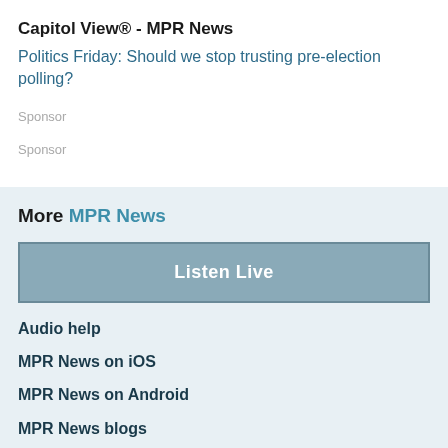Capitol View® - MPR News
Politics Friday: Should we stop trusting pre-election polling?
Sponsor
Sponsor
More MPR News
Listen Live
Audio help
MPR News on iOS
MPR News on Android
MPR News blogs
iOS Streaming app